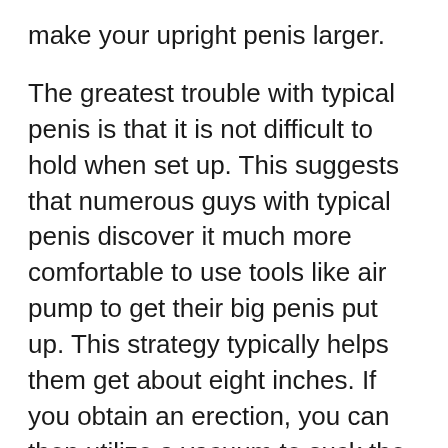make your upright penis larger.
The greatest trouble with typical penis is that it is not difficult to hold when set up. This suggests that numerous guys with typical penis discover it much more comfortable to use tools like air pump to get their big penis put up. This strategy typically helps them get about eight inches. If you obtain an erection, you can then utilize a vacuum to suck the blood from your root to your head. This should offer you an optimum of eighteen inches when set up.
To get your big penis, you have to understand just how women prefer it. Some ladies prefer girth while others choose size. The larger the penises are, the more likely